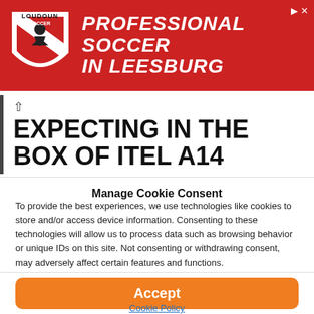[Figure (illustration): Red advertisement banner for Loudoun Soccer featuring a shield logo and text: PROFESSIONAL SOCCER IN LEESBURG]
EXPECTING IN THE BOX OF ITEL A14
Manage Cookie Consent
To provide the best experiences, we use technologies like cookies to store and/or access device information. Consenting to these technologies will allow us to process data such as browsing behavior or unique IDs on this site. Not consenting or withdrawing consent, may adversely affect certain features and functions.
Accept
Cookie Policy